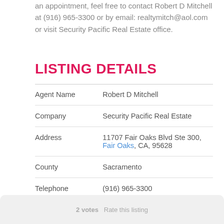an appointment, feel free to contact Robert D Mitchell at (916) 965-3300 or by email: realtymitch@aol.com or visit Security Pacific Real Estate office.
LISTING DETAILS
| Agent Name | Robert D Mitchell |
| Company | Security Pacific Real Estate |
| Address | 11707 Fair Oaks Blvd Ste 300, Fair Oaks, CA, 95628 |
| County | Sacramento |
| Telephone | (916) 965-3300 |
| Fax | (916) 965-5257 |
| E-mail | realtymitch@aol.com |
2 votes   Rate this listing